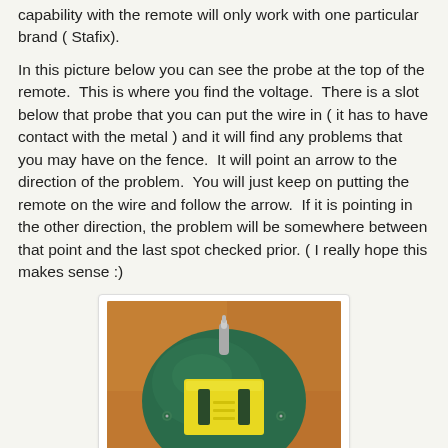capability with the remote will only work with one particular brand ( Stafix).
In this picture below you can see the probe at the top of the remote.  This is where you find the voltage.  There is a slot below that probe that you can put the wire in ( it has to have contact with the metal ) and it will find any problems that you may have on the fence.  It will point an arrow to the direction of the problem.  You will just keep on putting the remote on the wire and follow the arrow.  If it is pointing in the other direction, the problem will be somewhere between that point and the last spot checked prior. ( I really hope this makes sense :)
[Figure (photo): Photo of a Stafix electric fence remote/tester device. It is a round green plastic device with a metal probe at the top and a yellow rectangular panel in the center featuring two dark slots/contacts. Set against an orange-brown background.]